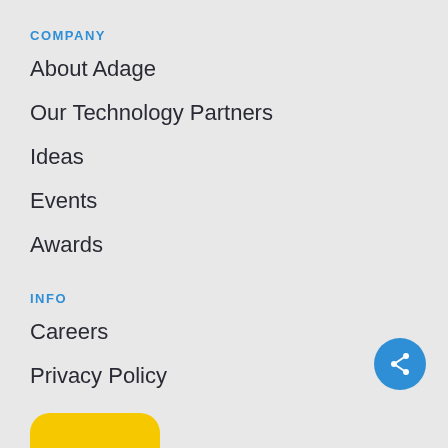COMPANY
About Adage
Our Technology Partners
Ideas
Events
Awards
INFO
Careers
Privacy Policy
[Figure (illustration): Blue circular share button with share icon in the bottom right corner]
[Figure (illustration): Yellow rounded button partially visible at the bottom left]